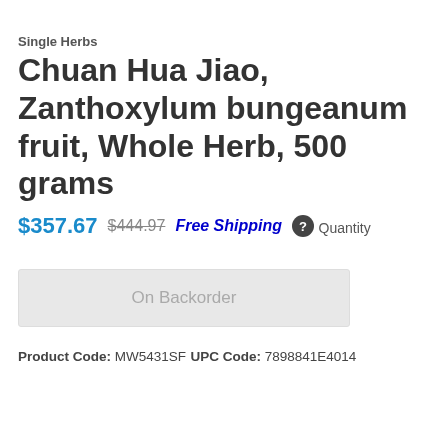Single Herbs
Chuan Hua Jiao, Zanthoxylum bungeanum fruit, Whole Herb, 500 grams
$357.67  $444.97  Free Shipping
Quantity
On Backorder
Product Code: MW5431SF
UPC Code: 7898841E4014